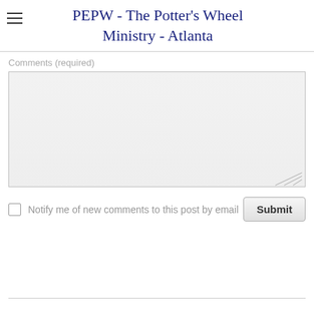PEPW - The Potter's Wheel Ministry - Atlanta
Comments (required)
[Figure (screenshot): Empty text area input field for comments]
Notify me of new comments to this post by email
Submit